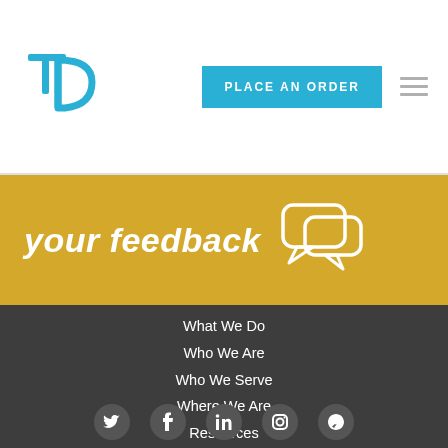[Figure (logo): TP logo in teal/cyan color]
PLACE AN ORDER
[Figure (illustration): Hamburger menu icon (three horizontal lines)]
your feedback
[Figure (illustration): Chat/speech bubble icon in white outline]
What We Do
Who We Are
Who We Serve
Where We Are
Resources
Place an Order
Request Information
Client Login
Select Location
800-877-3776
Follow us
[Figure (illustration): Social media icons row at bottom: Twitter, Facebook, LinkedIn, Instagram, and another]